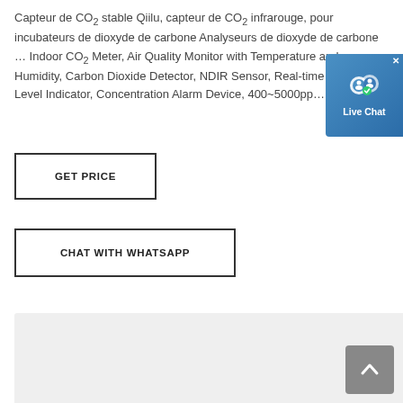Capteur de CO2 stable Qiilu, capteur de CO2 infrarouge, pour incubateurs de dioxyde de carbone Analyseurs de dioxyde de carbone ... Indoor CO2 Meter, Air Quality Monitor with Temperature and Humidity, Carbon Dioxide Detector, NDIR Sensor, Real-time Re… IAQ Level Indicator, Concentration Alarm Device, 400~5000pp… Range.
[Figure (screenshot): GET PRICE button - rectangular button with black border and bold uppercase text]
[Figure (screenshot): CHAT WITH WHATSAPP button - rectangular button with black border and bold uppercase text]
[Figure (screenshot): Live Chat widget - blue rounded button with chat icon and 'Live Chat' label, with X close button]
[Figure (screenshot): Gray content area at the bottom of the page with a scroll-to-top button (gray, with upward chevron arrow)]